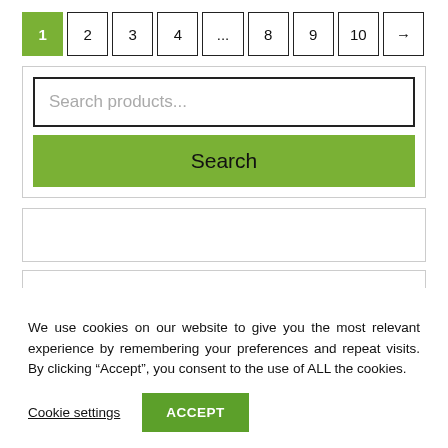Pagination: 1 (active), 2, 3, 4, ..., 8, 9, 10, →
[Figure (screenshot): Search products input field with a green Search button below it, inside a bordered container]
[Figure (screenshot): Empty widget box with light grey border]
[Figure (screenshot): Partial top of another bordered box, clipped at page edge]
We use cookies on our website to give you the most relevant experience by remembering your preferences and repeat visits. By clicking “Accept”, you consent to the use of ALL the cookies.
Cookie settings   ACCEPT